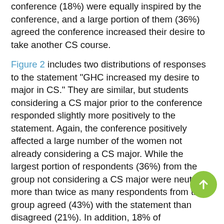conference (18%) were equally inspired by the conference, and a large portion of them (36%) agreed the conference increased their desire to take another CS course.
Figure 2 includes two distributions of responses to the statement "GHC increased my desire to major in CS." They are similar, but students considering a CS major prior to the conference responded slightly more positively to the statement. Again, the conference positively affected a large number of the women not already considering a CS major. While the largest portion of respondents (36%) from the group not considering a CS major were neutral, more than twice as many respondents from this group agreed (43%) with the statement than disagreed (21%). In addition, 18% of respondents from the non-CS-major group strongly agreed with the statement.
Although the groups' responses differed significantly regarding whether or not they would attend again, Figure 3 shows differences mainly concerned the level of peak